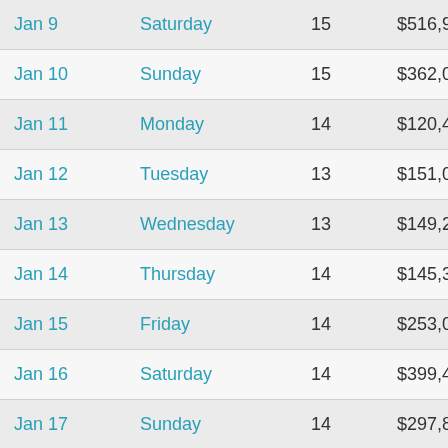| Date | Day | Count | Amount | Change |
| --- | --- | --- | --- | --- |
| Jan 9 | Saturday | 15 | $516,979 | +71.4 |
| Jan 10 | Sunday | 15 | $362,072 | -30 |
| Jan 11 | Monday | 14 | $120,444 | -66.7 |
| Jan 12 | Tuesday | 13 | $151,095 | +25.4 |
| Jan 13 | Wednesday | 13 | $149,245 | -1.2 |
| Jan 14 | Thursday | 14 | $145,360 | -2.6 |
| Jan 15 | Friday | 14 | $253,070 | +74.1 |
| Jan 16 | Saturday | 14 | $399,470 | +57.8 |
| Jan 17 | Sunday | 14 | $297,871 | -25.4 |